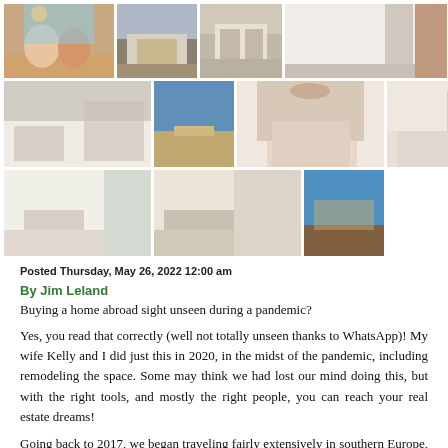[Figure (photo): Grid of 10 property and location photos showing a couple on a beach, coastal streets, interior rooms including living spaces, bedrooms, and an aerial coastal view]
Posted Thursday, May 26, 2022 12:00 am
By Jim Leland
Buying a home abroad sight unseen during a pandemic?
Yes, you read that correctly (well not totally unseen thanks to WhatsApp)! My wife Kelly and I did just this in 2020, in the midst of the pandemic, including remodeling the space. Some may think we had lost our mind doing this, but with the right tools, and mostly the right people, you can reach your real estate dreams!
Going back to 2017, we began traveling fairly extensively in southern Europe, always with a mindful eye to find a place